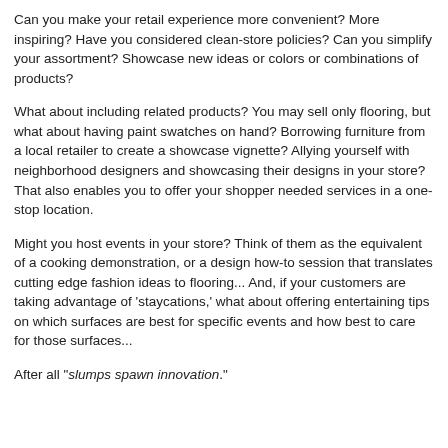Can you make your retail experience more convenient? More inspiring? Have you considered clean-store policies? Can you simplify your assortment? Showcase new ideas or colors or combinations of products?
What about including related products? You may sell only flooring, but what about having paint swatches on hand? Borrowing furniture from a local retailer to create a showcase vignette? Allying yourself with neighborhood designers and showcasing their designs in your store? That also enables you to offer your shopper needed services in a one-stop location.
Might you host events in your store? Think of them as the equivalent of a cooking demonstration, or a design how-to session that translates cutting edge fashion ideas to flooring... And, if your customers are taking advantage of 'staycations,' what about offering entertaining tips on which surfaces are best for specific events and how best to care for those surfaces...
After all "slumps spawn innovation."